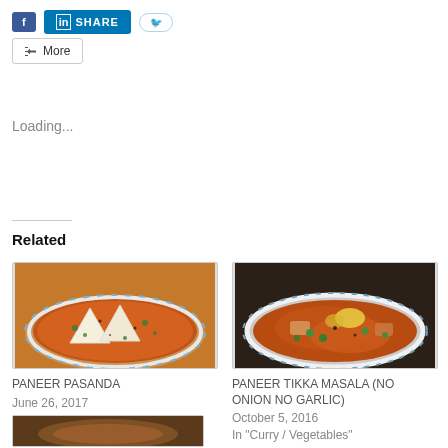[Figure (screenshot): Social share buttons: Facebook (blue), LinkedIn SHARE (blue), Twitter (outlined), More button]
Loading...
Related
[Figure (photo): PANEER PASANDA - bowl of paneer curry with triangular cheese pieces in orange gravy]
PANEER PASANDA
June 26, 2017
In "Curry / Vegetables"
[Figure (photo): PANEER TIKKA MASALA (NO ONION NO GARLIC) - bowl of tikka masala curry]
PANEER TIKKA MASALA (NO ONION NO GARLIC)
October 5, 2016
In "Curry / Vegetables"
[Figure (photo): Third related post thumbnail (partially visible at bottom)]